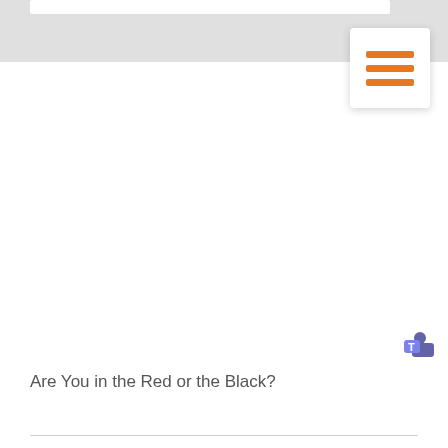[Figure (screenshot): Gray top navigation bar with white search/input bar and an orange hamburger menu icon in a white card with shadow]
#888
[Figure (logo): Microsoft Teams purple logo icon]
Are You in the Red or the Black?